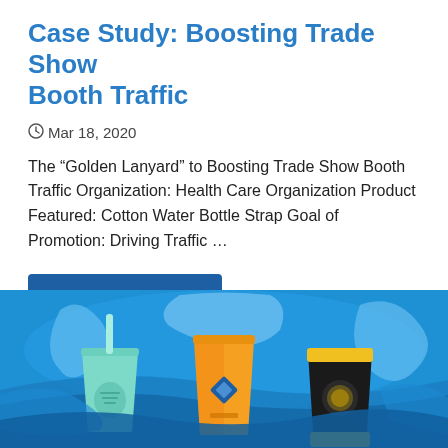Case Study: Boosting Trade Show Booth Traffic
Mar 18, 2020
The “Golden Lanyard” to Boosting Trade Show Booth Traffic Organization: Health Care Organization Product Featured: Cotton Water Bottle Strap Goal of Promotion: Driving Traffic …
Continue Reading ❯
[Figure (photo): Product photo showing branded drinkware items (teal cup with straw, orange cup branded REXUS, black and yellow insulated tumbler) splashing in water against a blue background]